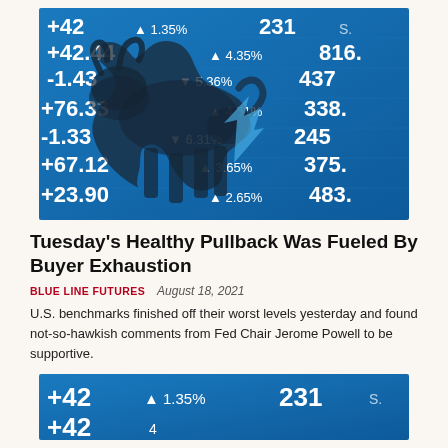[Figure (photo): Stock market ticker board with a bull silhouette overlay. Blue background with white numbers showing stock prices and percentage changes: +42, +42.44, -1.43, +76.33, -1.33, +67.12, +23.90, and percentages 1.35%, 4.35%, 5.36%, 4.51%, 6.31%, 3.65%, 2.65%, with values 231, 816, 437, 338, 245, 375, 483.]
Tuesday's Healthy Pullback Was Fueled By Buyer Exhaustion
BLUE LINE FUTURES   August 18, 2021
U.S. benchmarks finished off their worst levels yesterday and found not-so-hawkish comments from Fed Chair Jerome Powell to be supportive.
[Figure (photo): Partial stock market ticker board with blue background and white numbers, cropped at bottom of page. Shows +42 and 1.35% 231 visible.]